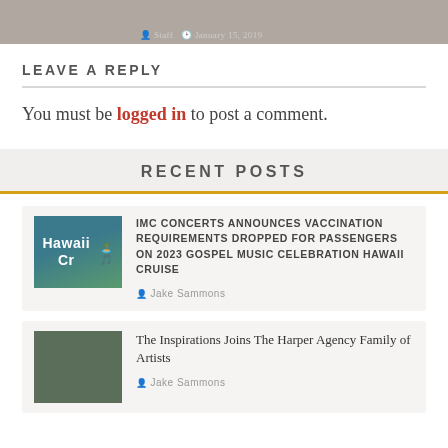[Figure (photo): Top strip showing a group photo, partially cropped. Metadata text reads 'Staff' and 'January 15, 2019'.]
LEAVE A REPLY
You must be logged in to post a comment.
RECENT POSTS
[Figure (photo): Thumbnail image for Hawaii Cruise post showing a tropical scene with text 'Hawaii Cr...' overlay.]
IMC CONCERTS ANNOUNCES VACCINATION REQUIREMENTS DROPPED FOR PASSENGERS ON 2023 GOSPEL MUSIC CELEBRATION HAWAII CRUISE
Jake Sammons
[Figure (photo): Thumbnail image showing a group of men in suits outdoors.]
The Inspirations Joins The Harper Agency Family of Artists
Jake Sammons